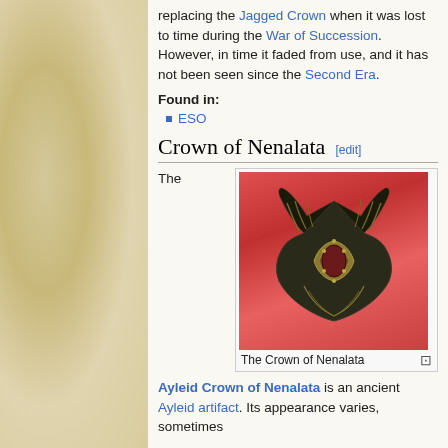replacing the Jagged Crown when it was lost to time during the War of Succession. However, in time it faded from use, and it has not been seen since the Second Era.
Found in:
ESO
Crown of Nenalata [edit]
[Figure (photo): The Crown of Nenalata — a dark ornate Ayleid crown with sweeping wing-like protrusions, gold filigree detail, photographed against a red background.]
The Crown of Nenalata
Ayleid Crown of Nenalata is an ancient Ayleid artifact. Its appearance varies, sometimes